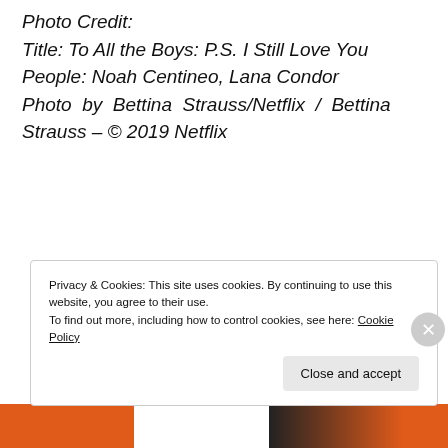Photo Credit:
Title: To All the Boys: P.S. I Still Love You
People: Noah Centineo, Lana Condor
Photo by Bettina Strauss/Netflix / Bettina Strauss – © 2019 Netflix
Privacy & Cookies: This site uses cookies. By continuing to use this website, you agree to their use.
To find out more, including how to control cookies, see here: Cookie Policy
Close and accept